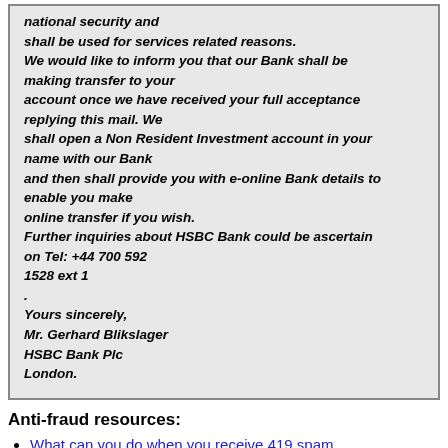national security and shall be used for services related reasons. We would like to inform you that our Bank shall be making transfer to your account once we have received your full acceptance replying this mail. We shall open a Non Resident Investment account in your name with our Bank and then shall provide you with e-online Bank details to enable you make online transfer if you wish. Further inquiries about HSBC Bank could be ascertain on Tel: +44 700 592 1528 ext 1 . Yours sincerely, Mr. Gerhard Blikslager HSBC Bank Plc London.
Anti-fraud resources:
What can you do when you receive 419 spam